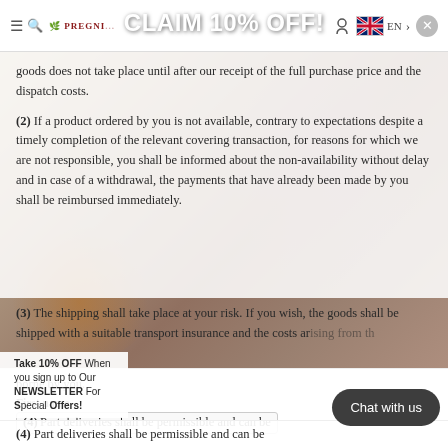PREGNI... CLAIM 10% OFF! EN >
goods does not take place until after our receipt of the full purchase price and the dispatch costs.
(2) If a product ordered by you is not available, contrary to expectations despite a timely completion of the relevant covering transaction, for reasons for which we are not responsible, you shall be informed about the non-availability without delay and in case of a withdrawal, the payments that have already been made by you shall be reimbursed immediately.
(3) The shipping shall take place at your risk. If you wish, the goods shall be shipped with a suitable transport insurance and the costs arising from this shall be borne by you.
Take 10% OFF When you sign up to Our NEWSLETTER For Special Offers!
First name
(4) Part deliveries shall be permissible and can be